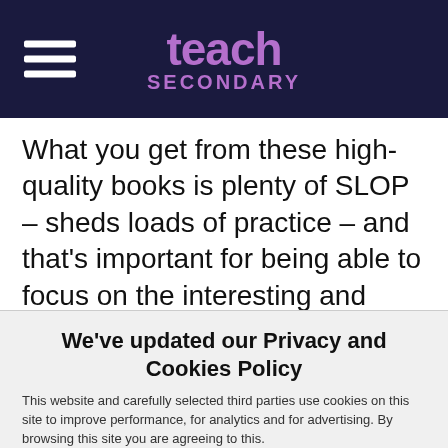teach SECONDARY
What you get from these high-quality books is plenty of SLOP – sheds loads of practice – and that's important for being able to focus on the interesting and more in-depth concepts and topics.
We've updated our Privacy and Cookies Policy
This website and carefully selected third parties use cookies on this site to improve performance, for analytics and for advertising. By browsing this site you are agreeing to this.
For more information see our Privacy and Cookie policy.
✓ OK